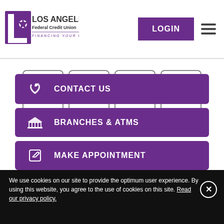[Figure (logo): Los Angeles Federal Credit Union logo with LA graphic and tagline 'Financing Your Future']
LOGIN
Hamburger menu icon
1
2
3
4
CONTACT US
BRANCHES & ATMS
MAKE APPOINTMENT
We use cookies on our site to provide the optimum user experience. By using this website, you agree to the use of cookies on this site. Read our privacy policy.